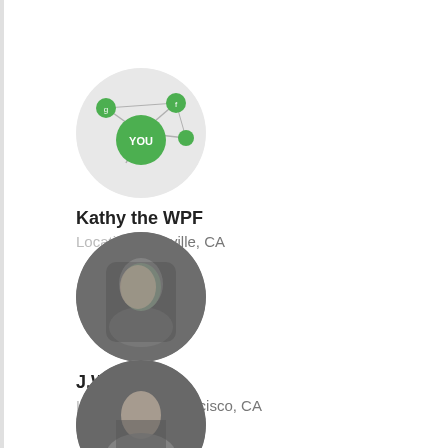[Figure (illustration): Circular avatar showing a green network/social graph icon with 'YOU' label in a green circle]
Kathy the WPF
Location Vacaville, CA
[Figure (photo): Circular avatar showing a man's face in a monochrome/dark photo]
J.Wings
Location San Francisco, CA
[Figure (photo): Circular avatar showing a woman's photo in black and white]
Jennifer Nielsen